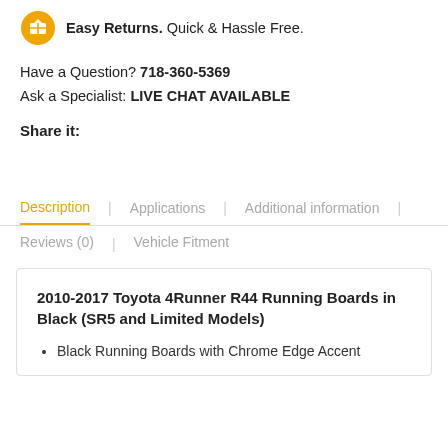[Figure (illustration): Yellow circular icon with a box/package symbol representing easy returns]
Easy Returns. Quick & Hassle Free.
Have a Question? 718-360-5369
Ask a Specialist: LIVE CHAT AVAILABLE
Share it:
Description | Applications | Additional information | Reviews (0) | Vehicle Fitment
2010-2017 Toyota 4Runner R44 Running Boards in Black (SR5 and Limited Models)
Black Running Boards with Chrome Edge Accent